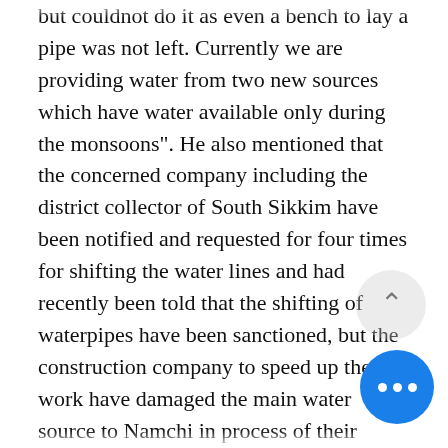but couldnot do it as even a bench to lay a pipe was not left. Currently we are providing water from two new sources which have water available only during the monsoons". He also mentioned that the concerned company including the district collector of South Sikkim have been notified and requested for four times for shifting the water lines and had recently been told that the shifting of waterpipes have been sanctioned, but the construction company to speed up their work have damaged the main water source to Namchi in process of their working. As a result, Namchi has not received drinking water from PHE for two days. AE Karthik on the alt water sources for Namchi have sa that PHE department for monsoon